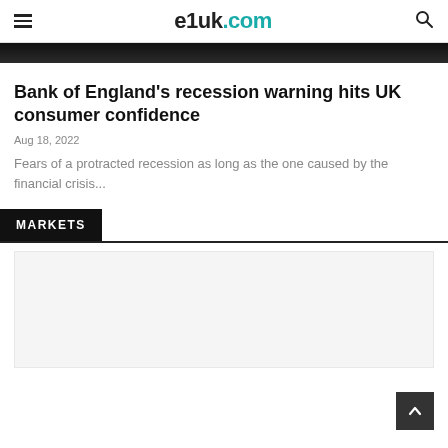e1uk.com
Bank of England's recession warning hits UK consumer confidence
Aug 18, 2022
Fears of a protracted recession as long as the one caused by the financial crisis...
MARKETS